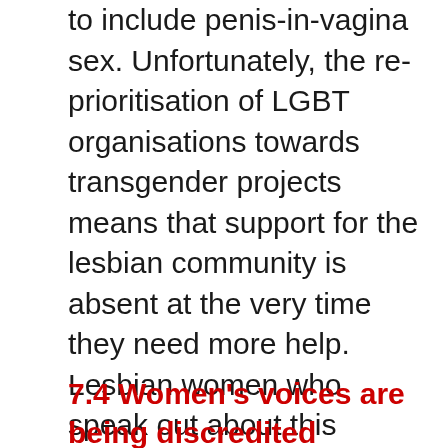to include penis-in-vagina sex. Unfortunately, the re-prioritisation of LGBT organisations towards transgender projects means that support for the lesbian community is absent at the very time they need more help. Lesbian women who speak out about this discrimination and the homophobia they suffer are now silenced or dismissed with claims of transphobia. It is not a level playing field. It is ironic perhaps that at a time when society considers gay rights and acceptance to be at an all time high the reality is that some sections of the gay community are being severely marginalised.
7.4 Women's voices are being discredited